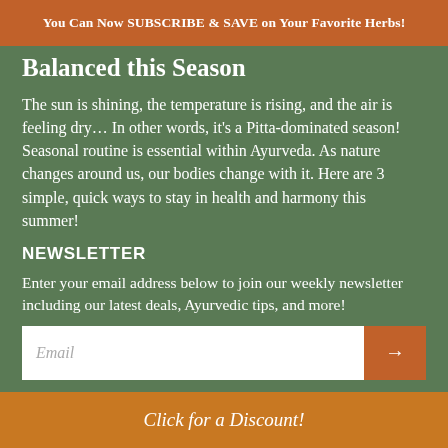You Can Now SUBSCRIBE & SAVE on Your Favorite Herbs!
Balanced this Season
The sun is shining, the temperature is rising, and the air is feeling dry… In other words, it's a Pitta-dominated season! Seasonal routine is essential within Ayurveda. As nature changes around us, our bodies change with it. Here are 3 simple, quick ways to stay in health and harmony this summer!
NEWSLETTER
Enter your email address below to join our weekly newsletter including our latest deals, Ayurvedic tips, and more!
SOCIAL MEDIA
Click for a Discount!